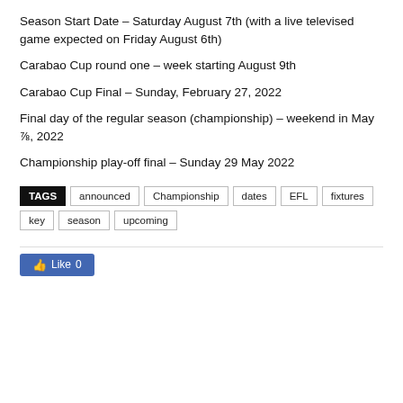Season Start Date – Saturday August 7th (with a live televised game expected on Friday August 6th)
Carabao Cup round one – week starting August 9th
Carabao Cup Final – Sunday, February 27, 2022
Final day of the regular season (championship) – weekend in May ⅞, 2022
Championship play-off final – Sunday 29 May 2022
TAGS: announced, Championship, dates, EFL, fixtures, key, season, upcoming